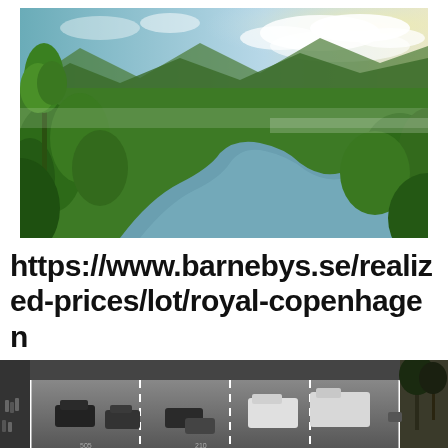[Figure (photo): Aerial view of a tropical rainforest with a river winding through lush green trees, misty mountains in the background, golden sunlight coming from the right side.]
https://www.barnebys.se/realized-prices/lot/royal-copenhagen
[Figure (photo): Black and white aerial view of a multi-lane highway with cars and trucks, palm trees on the right side, pedestrians visible on the left sidewalk.]